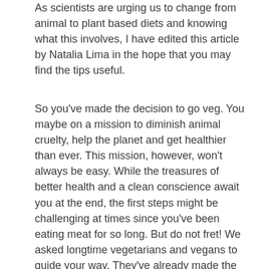As scientists are urging us to change from animal to plant based diets and knowing what this involves, I have edited this article by Natalia Lima in the hope that you may find the tips useful.
So you've made the decision to go veg. You maybe on a mission to diminish animal cruelty, help the planet and get healthier than ever. This mission, however, won't always be easy. While the treasures of better health and a clean conscience await you at the end, the first steps might be challenging at times since you've been eating meat for so long. But do not fret! We asked longtime vegetarians and vegans to guide your way. They've already made the switch. They've been there and done that, and now they are giving out advice.